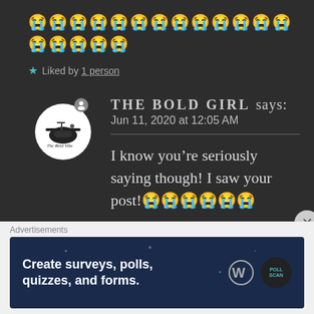😭😭😭😭😭😭😭😭😭😭😭😭😭😭😭😭😭😭😭
★ Liked by 1 person
THE BOLD GIRL says: Jun 11, 2020 at 12:05 AM
I know you're seriously saying though! I saw your post!😭😭😭😭😭😭
★ Liked by 1 person
Advertisements
Create surveys, polls, quizzes, and forms.